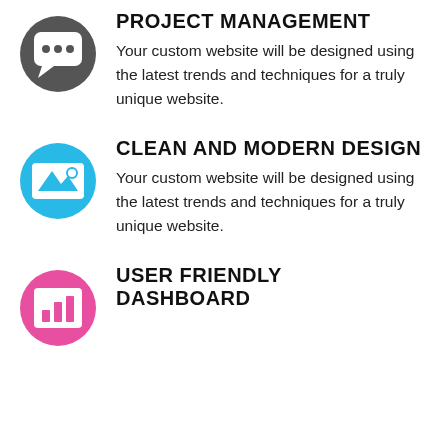[Figure (illustration): Dark gray circle with white speech/chat bubble icon]
PROJECT MANAGEMENT
Your custom website will be designed using the latest trends and techniques for a truly unique website.
[Figure (illustration): Cyan/blue circle with white image/landscape icon]
CLEAN AND MODERN DESIGN
Your custom website will be designed using the latest trends and techniques for a truly unique website.
[Figure (illustration): Pink circle with white bar chart/dashboard icon]
USER FRIENDLY DASHBOARD